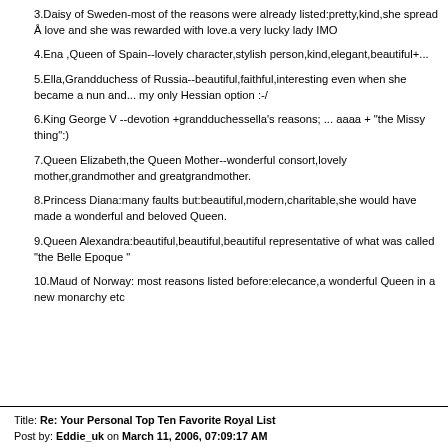3.Daisy of Sweden-most of the reasons were already listed:pretty,kind,she spread Å love and she was rewarded with love.a very lucky lady IMO
4.Ena ,Queen of Spain--lovely character,stylish person,kind,elegant,beautiful+...
5.Ella,Grandduchess of Russia--beautiful,faithful,interesting even when she became a nun and... my only Hessian option :-/
6.King George V --devotion +grandduchessella's reasons; ... aaaa + "the Missy thing":)
7.Queen Elizabeth,the Queen Mother--wonderful consort,lovely mother,grandmother and greatgrandmother.
8.Princess Diana:many faults but:beautiful,modern,charitable,she would have made a wonderful and beloved Queen.
9.Queen Alexandra:beautiful,beautiful,beautiful representative of what was called "the Belle Epoque "
10.Maud of Norway: most reasons listed before:elecance,a wonderful Queen in a new monarchy etc
Title: Re: Your Personal Top Ten Favorite Royal List
Post by: Eddie_uk on March 11, 2006, 07:09:17 AM